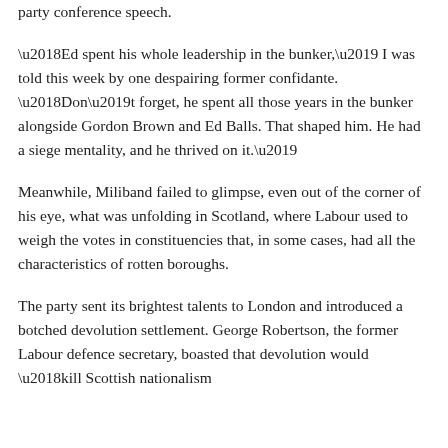party conference speech.
'Ed spent his whole leadership in the bunker,' I was told this week by one despairing former confidante. 'Don't forget, he spent all those years in the bunker alongside Gordon Brown and Ed Balls. That shaped him. He had a siege mentality, and he thrived on it.'
Meanwhile, Miliband failed to glimpse, even out of the corner of his eye, what was unfolding in Scotland, where Labour used to weigh the votes in constituencies that, in some cases, had all the characteristics of rotten boroughs.
The party sent its brightest talents to London and introduced a botched devolution settlement. George Robertson, the former Labour defence secretary, boasted that devolution would 'kill Scottish nationalism